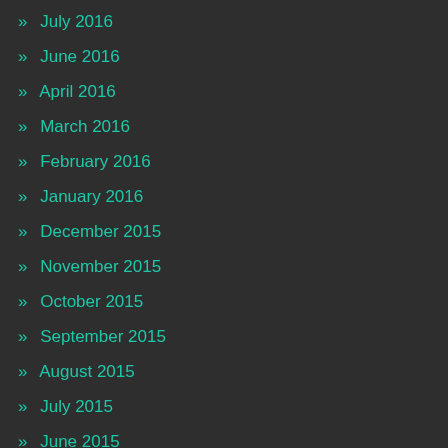» July 2016
» June 2016
» April 2016
» March 2016
» February 2016
» January 2016
» December 2015
» November 2015
» October 2015
» September 2015
» August 2015
» July 2015
» June 2015